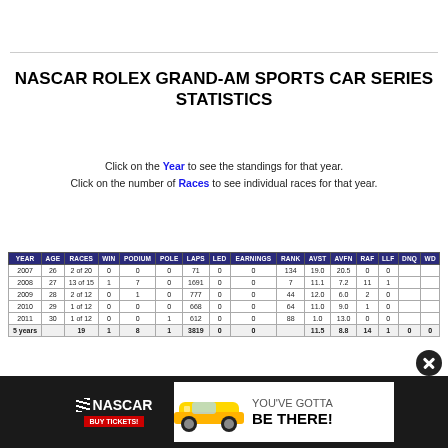NASCAR ROLEX GRAND-AM SPORTS CAR SERIES STATISTICS
Click on the Year to see the standings for that year.
Click on the number of Races to see individual races for that year.
| YEAR | AGE | RACES | WIN | PODIUM | POLE | LAPS | LED | EARNINGS | RANK | AVST | AVFN | RAF | LLF | DNQ | WD |
| --- | --- | --- | --- | --- | --- | --- | --- | --- | --- | --- | --- | --- | --- | --- | --- |
| 2007 | 26 | 2 of 20 | 0 | 0 | 0 | 71 | 0 | 0 | 134 | 19.0 | 20.5 | 0 | 0 |  |  |
| 2008 | 27 | 13 of 15 | 1 | 7 | 0 | 1691 | 0 | 0 | 7 | 11.1 | 7.2 | 11 | 1 |  |  |
| 2009 | 28 | 2 of 12 | 0 | 1 | 0 | 777 | 0 | 0 | 44 | 12.0 | 6.0 | 2 | 0 |  |  |
| 2010 | 29 | 1 of 12 | 0 | 0 | 0 | 668 | 0 | 0 | 64 | 11.0 | 9.0 | 1 | 0 |  |  |
| 2011 | 30 | 1 of 12 | 0 | 0 | 1 | 612 | 0 | 0 | 88 | 1.0 | 13.0 | 0 | 0 |  |  |
| 5 years |  | 19 | 1 | 8 | 1 | 3819 | 0 | 0 |  | 11.5 | 8.8 | 14 | 1 | 0 | 0 |
[Figure (infographic): NASCAR advertisement banner: NASCAR logo with 'BUY TICKETS!' button, race car image, text 'YOU'VE GOTTA BE THERE!']